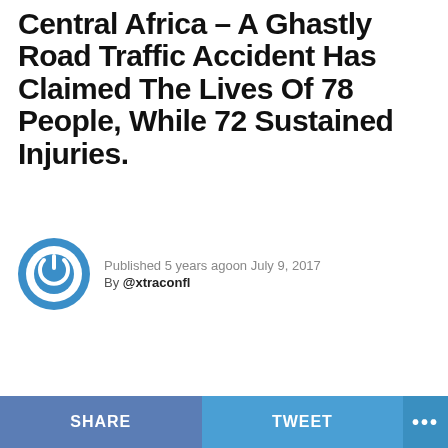Central Africa – A Ghastly Road Traffic Accident Has Claimed The Lives Of 78 People, While 72 Sustained Injuries.
Published 5 years agoon July 9, 2017
By @xtraconfl
SHARE   TWEET   ...